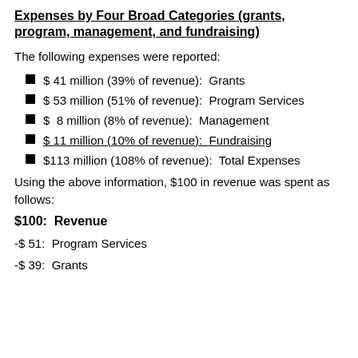Expenses by Four Broad Categories (grants, program, management, and fundraising)
The following expenses were reported:
$ 41 million (39% of revenue):  Grants
$ 53 million (51% of revenue):  Program Services
$  8 million (8% of revenue):  Management
$ 11 million (10% of revenue):  Fundraising
$113 million (108% of revenue):  Total Expenses
Using the above information, $100 in revenue was spent as follows:
$100:  Revenue
-$ 51:  Program Services
-$ 39:  Grants